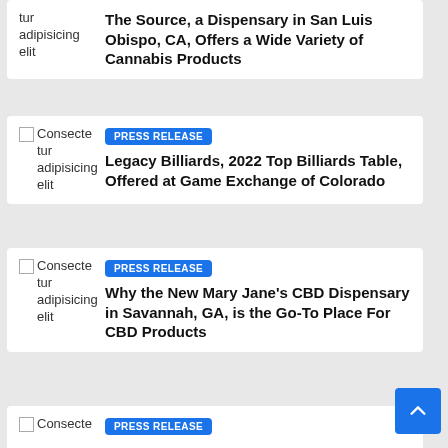Consecte tur adipisicing elit — The Source, a Dispensary in San Luis Obispo, CA, Offers a Wide Variety of Cannabis Products
PRESS RELEASE — Consecte tur adipisicing elit — Legacy Billiards, 2022 Top Billiards Table, Offered at Game Exchange of Colorado
PRESS RELEASE — Consecte tur adipisicing elit — Why the New Mary Jane's CBD Dispensary in Savannah, GA, is the Go-To Place For CBD Products
PRESS RELEASE — Consecte